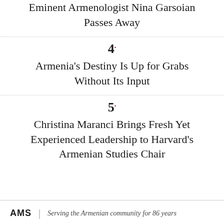Eminent Armenologist Nina Garsoian Passes Away
4.
Armenia's Destiny Is Up for Grabs Without Its Input
5.
Christina Maranci Brings Fresh Yet Experienced Leadership to Harvard's Armenian Studies Chair
AMS | Serving the Armenian community for 86 years